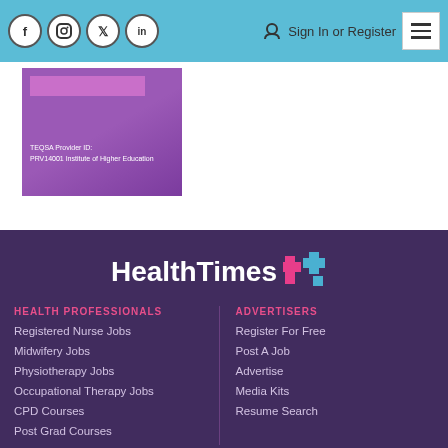Social icons (Facebook, Instagram, Twitter, LinkedIn) | Sign In or Register | Menu
[Figure (screenshot): Purple provider card showing TEQSA Provider ID: PRV14001 Institute of Higher Education]
[Figure (logo): HealthTimes logo with pink and blue cross symbol on dark purple background]
HEALTH PROFESSIONALS
Registered Nurse Jobs
Midwifery Jobs
Physiotherapy Jobs
Occupational Therapy Jobs
CPD Courses
Post Grad Courses
ADVERTISERS
Register For Free
Post A Job
Advertise
Media Kits
Resume Search